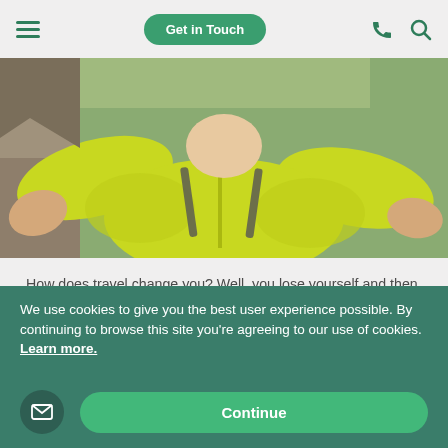Get in Touch
[Figure (photo): Person in a bright yellow-green jacket, selfie-style photo from above showing the person lying or sitting on rocky terrain]
How does travel change you? Well, you lose yourself and then you find yourself. It isn't all going to be rainbows, waterfalls and sunsets, but you'll see the sunshine when the storm passes. You'll be rinsed free of the sweat, dust and dirt you collect on the road and the day will fade away leaving you with nothing but your newly discovered achievements.
We use cookies to give you the best user experience possible. By continuing to browse this site you're agreeing to our use of cookies. Learn more.